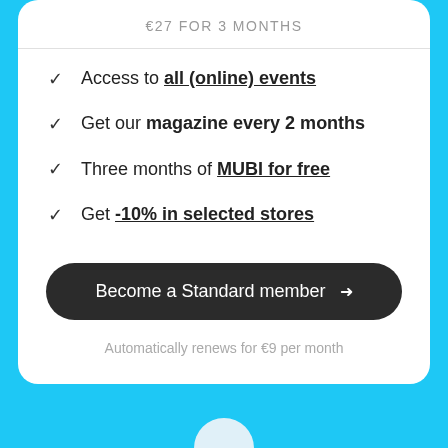€27 FOR 3 MONTHS
Access to all (online) events
Get our magazine every 2 months
Three months of MUBI for free
Get -10% in selected stores
Become a Standard member →
Automatically renews for €9 per month